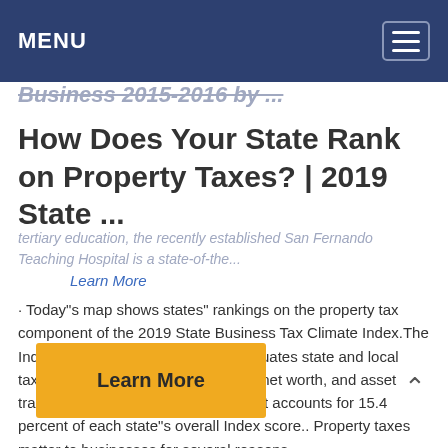MENU
Business 2015-2016 by ...
How Does Your State Rank on Property Taxes? | 2019 State ...
tertiary education, the recently established San Fernando Teaching Hospital is a state-of-the...
Learn More
· Today"s map shows states" rankings on the property tax component of the 2019 State Business Tax Climate Index.The Index"s property tax component evaluates state and local taxes on real and personal property, net worth, and asset transfers.The property tax component accounts for 15.4 percent of each state"s overall Index score.. Property taxes matter to businesses for several reasons.
Learn More